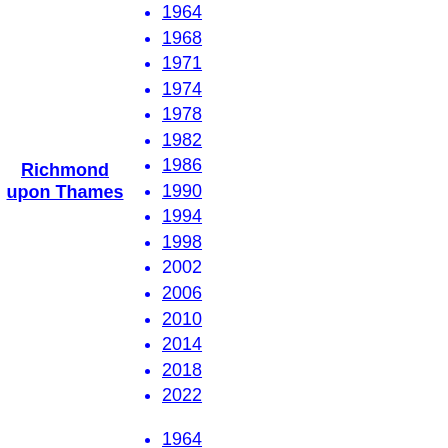Richmond upon Thames
1964
1968
1971
1974
1978
1982
1986
1990
1994
1998
2002
2006
2010
2014
2018
2022
1964
1968
1971
1974
1978
1982
1986